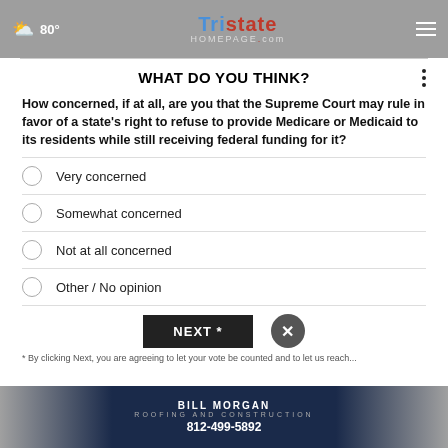80° — TristateHomepage.com
WHAT DO YOU THINK?
How concerned, if at all, are you that the Supreme Court may rule in favor of a state's right to refuse to provide Medicare or Medicaid to its residents while still receiving federal funding for it?
Very concerned
Somewhat concerned
Not at all concerned
Other / No opinion
* By clicking Next, you are agreeing to let your vote be counted and to let us reach...